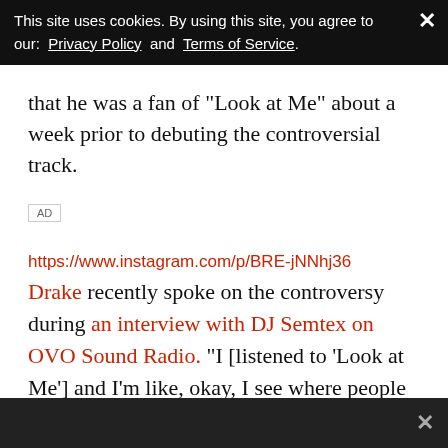This site uses cookies. By using this site, you agree to our: Privacy Policy and Terms of Service.
that he was a fan of 'Look at Me' about a week prior to debuting the controversial track.
AD
https://www.instagram.com/p/BRE-jNNhj36
Drake recently spoke on the controversy during an interview with DJ Semtex on OVO Sound Radio. "I [listened to 'Look at Me'] and I'm like, okay, I see where people could draw this comparison off of the